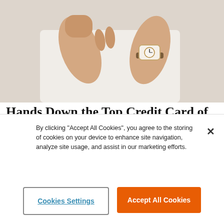[Figure (photo): Person in white shirt showing hands near chest area with a watch on wrist, close-up shot against light background]
Hands Down the Top Credit Card of 2022
CompareCredit
[Figure (photo): Close-up of an elderly woman's face focusing on her eyes, with her hand near her face, warm brown background]
By clicking "Accept All Cookies", you agree to the storing of cookies on your device to enhance site navigation, analyze site usage, and assist in our marketing efforts.
Cookies Settings
Accept All Cookies